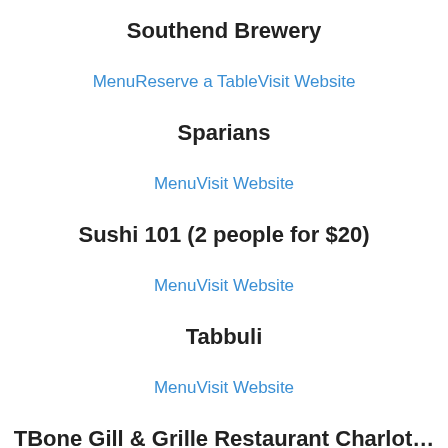Southend Brewery
MenuReserve a TableVisit Website
Sparians
MenuVisit Website
Sushi 101 (2 people for $20)
MenuVisit Website
Tabbuli
MenuVisit Website
TBone Gill & Grille Restaurant Charlotte